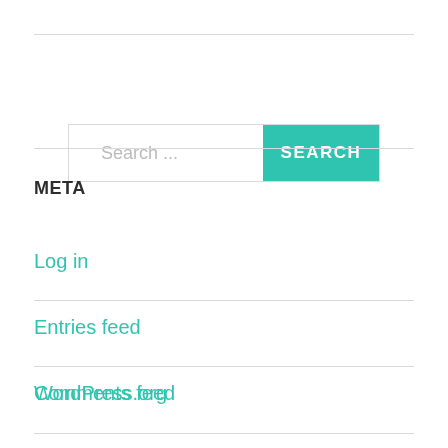[Figure (screenshot): Search bar with placeholder text 'Search ...' and a teal 'SEARCH' button on the right]
META
Log in
Entries feed
Comments feed
WordPress.org